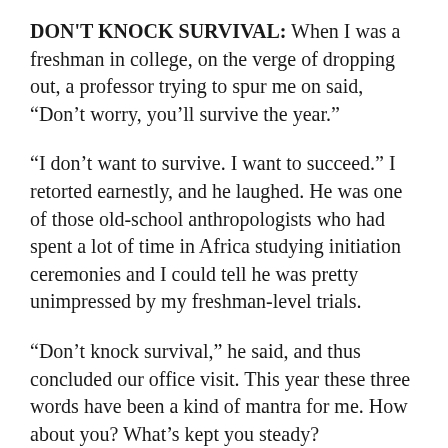DON'T KNOCK SURVIVAL: When I was a freshman in college, on the verge of dropping out, a professor trying to spur me on said, “Don’t worry, you’ll survive the year.”
“I don’t want to survive. I want to succeed.” I retorted earnestly, and he laughed. He was one of those old-school anthropologists who had spent a lot of time in Africa studying initiation ceremonies and I could tell he was pretty unimpressed by my freshman-level trials.
“Don’t knock survival,” he said, and thus concluded our office visit. This year these three words have been a kind of mantra for me. How about you? What’s kept you steady?
Most the dea not his success of the...